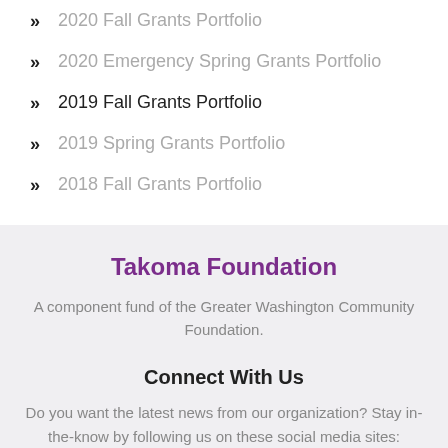2020 Fall Grants Portfolio
2020 Emergency Spring Grants Portfolio
2019 Fall Grants Portfolio
2019 Spring Grants Portfolio
2018 Fall Grants Portfolio
Takoma Foundation
A component fund of the Greater Washington Community Foundation.
Connect With Us
Do you want the latest news from our organization? Stay in-the-know by following us on these social media sites:
[Figure (illustration): Two dark grey social media icon buttons]